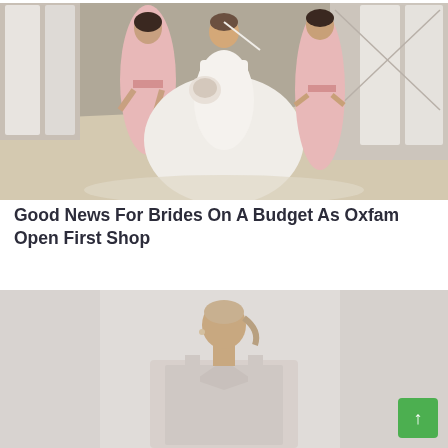[Figure (photo): A bride in a large white ball gown holding a bouquet, flanked by two bridesmaids/flower girls in light pink dresses, standing in what appears to be a bridal shop with white gowns hanging in the background.]
Good News For Brides On A Budget As Oxfam Open First Shop
[Figure (photo): A woman wearing a sleeveless lace or embellished wedding dress or formal gown, photographed from the torso up with a neutral background, appearing to be a fashion/bridal editorial photo.]